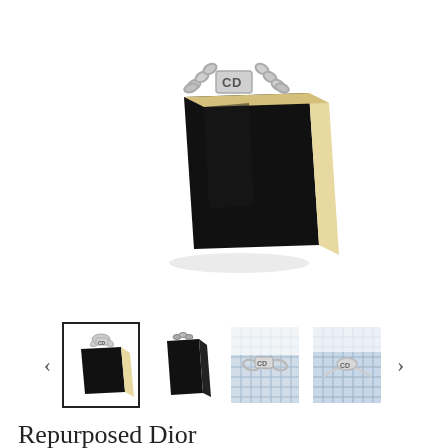[Figure (photo): A black luxury handbag (Dior) with a silver chain handle featuring the CD logo charm, shown at an angle against a white background.]
[Figure (photo): Thumbnail gallery row with four product images: first (selected with border) shows the black Dior bag front view; second shows the bag from a different angle; third and fourth show close-up detail shots of the silver CD charm/chain on a light fabric background. Navigation arrows on left and right.]
Repurposed Dior Cut-Out Charm Silver